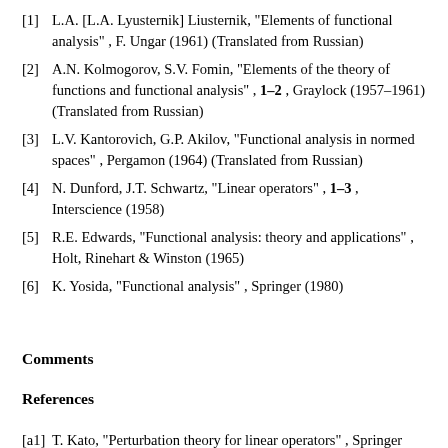[1] L.A. [L.A. Lyusternik] Liusternik, "Elements of functional analysis" , F. Ungar (1961) (Translated from Russian)
[2] A.N. Kolmogorov, S.V. Fomin, "Elements of the theory of functions and functional analysis" , 1–2 , Graylock (1957–1961) (Translated from Russian)
[3] L.V. Kantorovich, G.P. Akilov, "Functional analysis in normed spaces" , Pergamon (1964) (Translated from Russian)
[4] N. Dunford, J.T. Schwartz, "Linear operators" , 1–3 , Interscience (1958)
[5] R.E. Edwards, "Functional analysis: theory and applications" , Holt, Rinehart & Winston (1965)
[6] K. Yosida, "Functional analysis" , Springer (1980)
Comments
References
[a1] T. Kato, "Perturbation theory for linear operators" , Springer (1976)